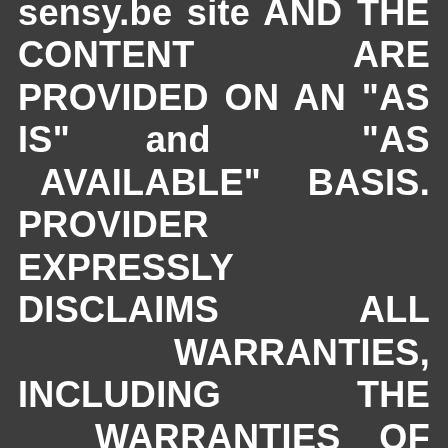sensy.be site AND THE CONTENT ARE PROVIDED ON AN "AS IS" and "AS AVAILABLE" BASIS. PROVIDER EXPRESSLY DISCLAIMS ALL WARRANTIES, INCLUDING THE WARRANTIES OF MERCHANTABILITY, FITNESS FOR A PARTICULAR PURPOSE AND NON-INFRINGEMENT. PROVIDER DISCLAIMS ALL RESPONSIBILITY FOR ANY LOSS, INJURY, CLAIM, LIABILITY, OR DAMAGE OF ANY KIND RESULTING FROM, ARISING OUT OF OR ANY WAY RELATED TO (A) ANY ERRORS IN OR OMISSIONS FROM THIS WEB SITE AND THE